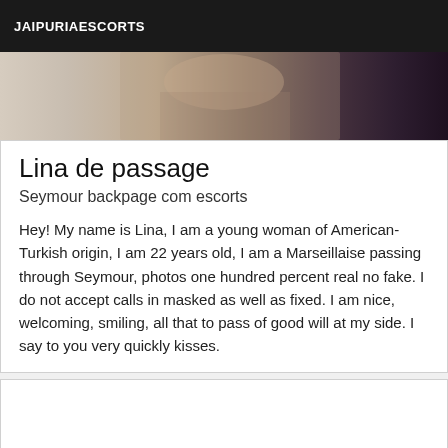JAIPURIAESCORTS
[Figure (photo): Partial photo of a person, cropped, showing hands and upper body with blurred face area, with dark purple/brown tones on the right side]
Lina de passage
Seymour backpage com escorts
Hey! My name is Lina, I am a young woman of American-Turkish origin, I am 22 years old, I am a Marseillaise passing through Seymour, photos one hundred percent real no fake. I do not accept calls in masked as well as fixed. I am nice, welcoming, smiling, all that to pass of good will at my side. I say to you very quickly kisses.